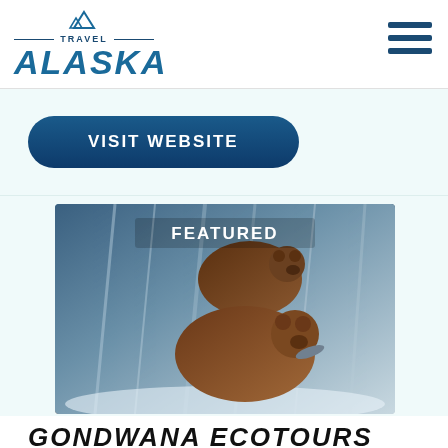TRAVEL ALASKA
VISIT WEBSITE
[Figure (photo): Two brown bears fishing at a waterfall, labeled FEATURED]
GONDWANA ECOTOURS